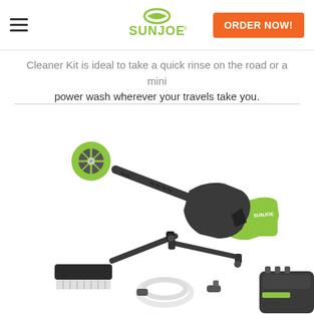SunJoe | ORDER NOW!
Cleaner Kit is ideal to take a quick rinse on the road or a mini power wash wherever your travels take you.
[Figure (photo): Sun Joe cordless pressure washer gun with green and dark grey color scheme, shown with accessories including a scrub brush attachment, extension wand, and hose/coupler set. Battery pack visible at bottom right. Sun Joe branding on the gun body.]